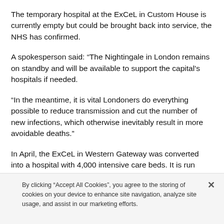The temporary hospital at the ExCeL in Custom House is currently empty but could be brought back into service, the NHS has confirmed.
A spokesperson said: “The Nightingale in London remains on standby and will be available to support the capital’s hospitals if needed.
“In the meantime, it is vital Londoners do everything possible to reduce transmission and cut the number of new infections, which otherwise inevitably result in more avoidable deaths.”
In April, the ExCeL in Western Gateway was converted into a hospital with 4,000 intensive care beds. It is run
By clicking “Accept All Cookies”, you agree to the storing of cookies on your device to enhance site navigation, analyze site usage, and assist in our marketing efforts.